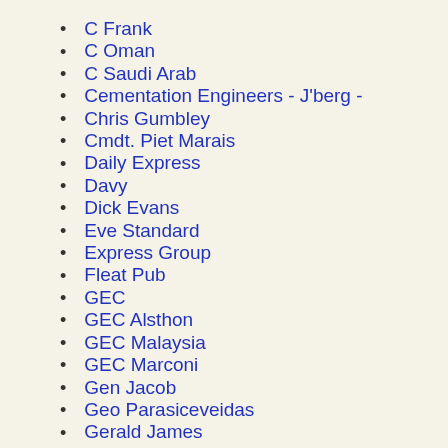C Frank
C Oman
C Saudi Arab
Cementation Engineers - J'berg -
Chris Gumbley
Cmdt. Piet Marais
Daily Express
Davy
Dick Evans
Eve Standard
Express Group
Fleat Pub
GEC
GEC Alsthon
GEC Malaysia
GEC Marconi
Gen Jacob
Geo Parasiceveidas
Gerald James